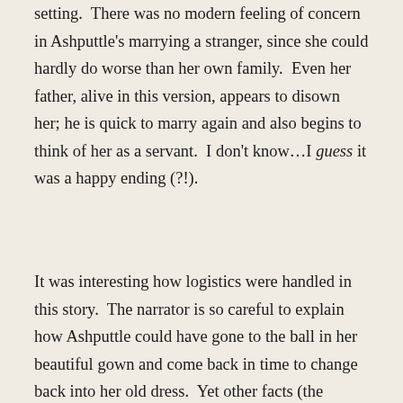setting.  There was no modern feeling of concern in Ashputtle's marrying a stranger, since she could hardly do worse than her own family.  Even her father, alive in this version, appears to disown her; he is quick to marry again and also begins to think of her as a servant.  I don't know…I guess it was a happy ending (?!).
It was interesting how logistics were handled in this story.  The narrator is so careful to explain how Ashputtle could have gone to the ball in her beautiful gown and come back in time to change back into her old dress.  Yet other facts (the origins of the family dysfunction, for one) are completely glossed over.  I